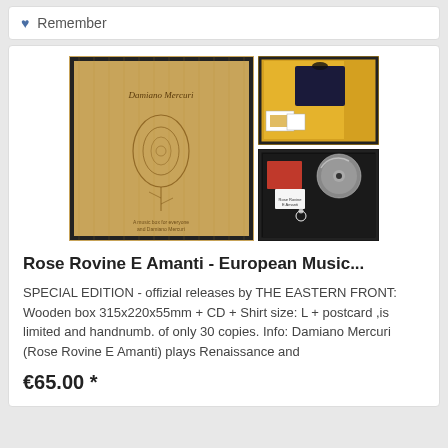Remember
[Figure (photo): Product photo showing a wooden box with engraved text and rose design (Rose Rovine E Amanti), alongside contents including a CD, a dark t-shirt, and postcards displayed in three panel composite image]
Rose Rovine E Amanti - European Music...
SPECIAL EDITION - offizial releases by THE EASTERN FRONT: Wooden box 315x220x55mm + CD + Shirt size: L + postcard ,is limited and handnumb. of only 30 copies. Info: Damiano Mercuri (Rose Rovine E Amanti) plays Renaissance and
€65.00 *